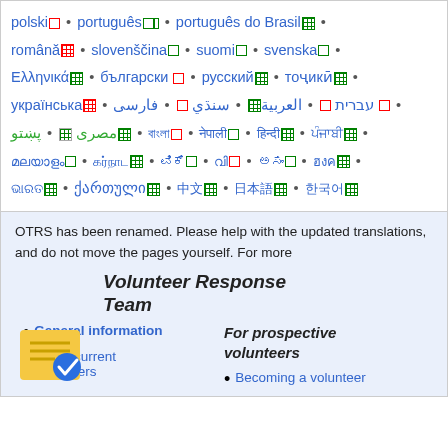polski • português • português do Brasil • română • slovenščina • suomi • svenska • Ελληνικά • български • русский • тоҷикӣ • українська • עברית • العربية • سنڌي • فارسی • مصرى • پښتو • [various scripts] • ქართული • [CJK scripts]
OTRS has been renamed. Please help with the updated translations, and do not move the pages yourself. For more
Volunteer Response Team
General information
List of current volunteers
For prospective volunteers
Becoming a volunteer